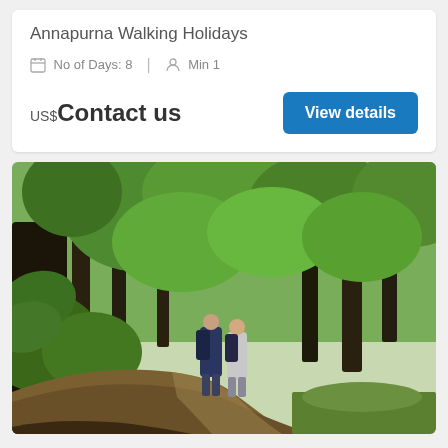Annapurna Walking Holidays
No of Days: 8  |  Min 1
US$ Contact us
View details
[Figure (photo): Two hikers with backpacks walking along a forest trail surrounded by lush green trees and mossy rocks in the Annapurna region]